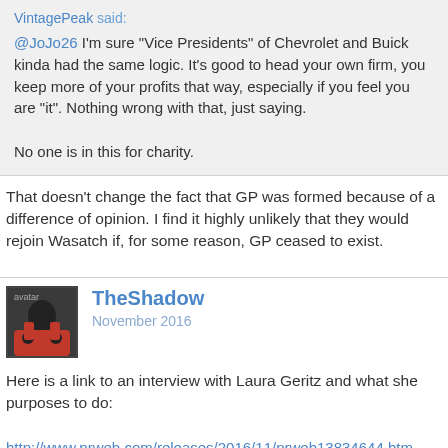VintagePeak said: @JoJo26 I'm sure "Vice Presidents" of Chevrolet and Buick kinda had the same logic. It's good to head your own firm, you keep more of your profits that way, especially if you feel you are "it". Nothing wrong with that, just saying.

No one is in this for charity.
That doesn't change the fact that GP was formed because of a difference of opinion. I find it highly unlikely that they would rejoin Wasatch if, for some reason, GP ceased to exist.
TheShadow
November 2016
Here is a link to an interview with Laura Geritz and what she purposes to do:
http://www.prweb.com/releases/2016/11/prweb13834644.htm
Sign In or Register to comment.
Full Site · Sign In